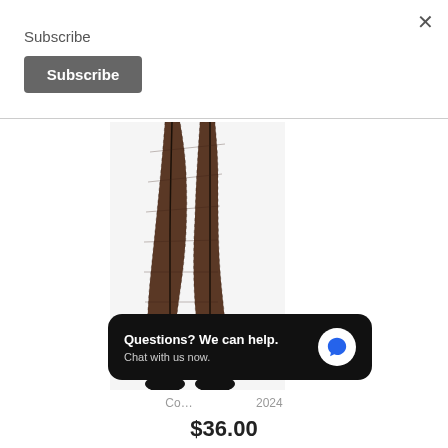×
Subscribe
Subscribe
[Figure (photo): Close-up photo of legs wearing dark fishnet tights/stockings with vertical stripe detail, paired with black shoes]
Co... 2024
Questions? We can help. Chat with us now.
$36.00